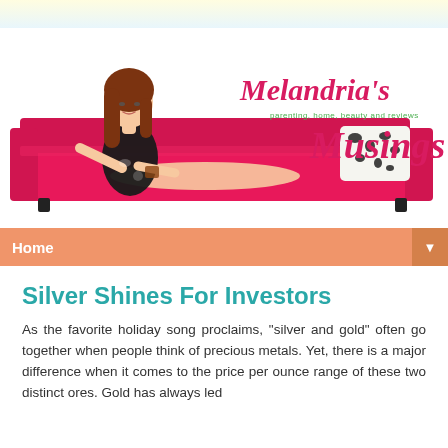[Figure (illustration): Melandria's Musings blog header with illustrated woman on pink sofa and script logo text]
Home
Silver Shines For Investors
As the favorite holiday song proclaims, "silver and gold" often go together when people think of precious metals. Yet, there is a major difference when it comes to the price per ounce range of these two distinct ores. Gold has always led